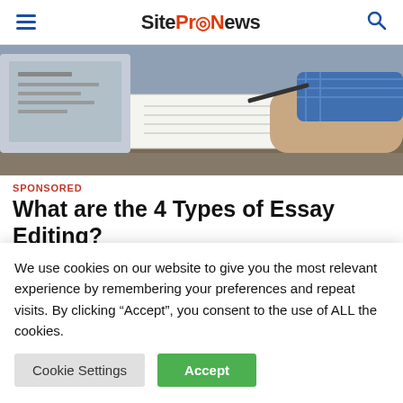SiteProNews
[Figure (photo): Person writing or working at a desk with a laptop and notebook, wearing a blue checked shirt]
SPONSORED
What are the 4 Types of Essay Editing?
2 months ago   Kristina Rigina
No matter whether you are a freshman who
We use cookies on our website to give you the most relevant experience by remembering your preferences and repeat visits. By clicking “Accept”, you consent to the use of ALL the cookies.